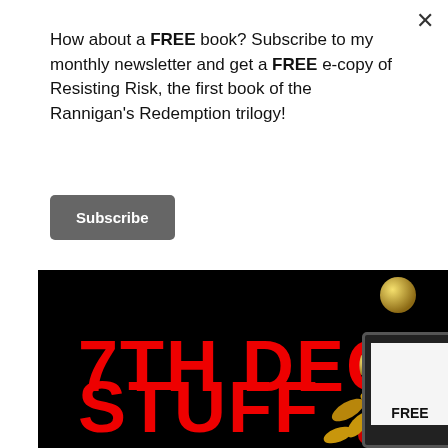×
How about a FREE book? Subscribe to my monthly newsletter and get a FREE e-copy of Resisting Risk, the first book of the Rannigan's Redemption trilogy!
Subscribe
[Figure (illustration): Black background promotional image with red bold text '7TH DEC' on top and 'STUFF' on bottom, with gold Christmas ball decorations and holly in upper right corner, and a Kindle device showing 'FREE' in lower right]